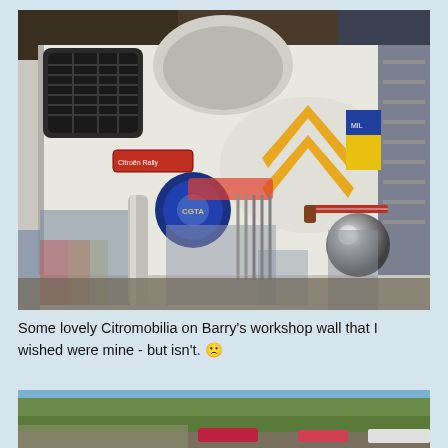[Figure (photo): Workshop wall covered with Citroën memorabilia including a large Citroën double chevron logo in yellow, various badges, emblems, tools including a hacksaw, a chrome sphere, old car grille, and other automotive collectibles.]
Some lovely Citromobilia on Barry's workshop wall that I wished were mine - but isn't. 🙁
[Figure (photo): Outdoor scene with green trees/hedges and cars partially visible at bottom of page.]